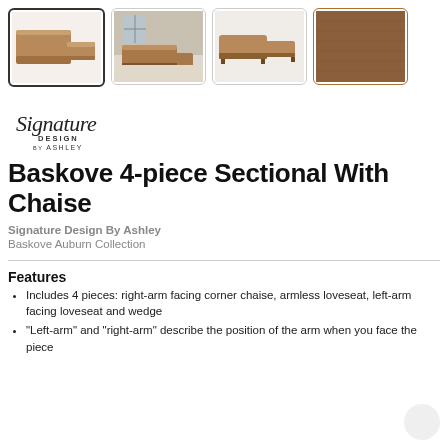[Figure (photo): Four product thumbnails for the Baskove 4-piece sectional with chaise: first (selected) shows a top-down view of the sectional in brown/auburn, second shows a room lifestyle shot, third shows a side profile, fourth shows a close-up of the auburn fabric texture.]
[Figure (logo): Signature Design by Ashley logo in cursive and print text]
Baskove 4-piece Sectional With Chaise
Signature Design By Ashley
Baskove Auburn Collection
Features
Includes 4 pieces: right-arm facing corner chaise, armless loveseat, left-arm facing loveseat and wedge
"Left-arm" and "right-arm" describe the position of the arm when you face the piece